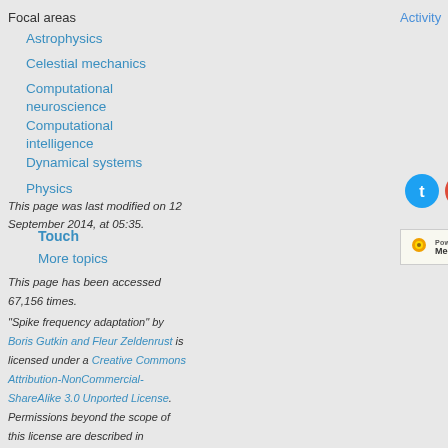Focal areas
Activity
Astrophysics
Celestial mechanics
Computational neuroscience
Computational intelligence
Dynamical systems
Physics
Touch
More topics
This page was last modified on 12 September 2014, at 05:35.
This page has been accessed 67,156 times.
"Spike frequency adaptation" by Boris Gutkin and Fleur Zeldenrust is licensed under a Creative Commons Attribution-NonCommercial-ShareAlike 3.0 Unported License. Permissions beyond the scope of this license are described in
[Figure (infographic): Social sharing icons: Twitter, Google+, Facebook, LinkedIn]
[Figure (logo): Powered by MediaWiki and MathJax badges]